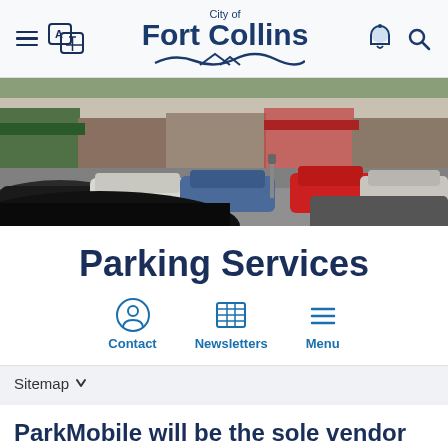City of Fort Collins
[Figure (photo): Street-level photo of a busy parking area with multiple cars parked and driving in a downtown area with storefronts visible in the background.]
Parking Services
Contact | Newsletters | Menu
Sitemap
ParkMobile will be the sole vendor